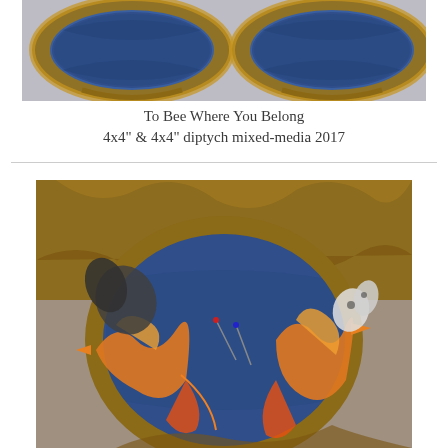[Figure (photo): Two ornate oval golden/bronze picture frames with blue textured interior, photographed from above on a light gray background. The frames have decorative floral and leaf motifs.]
To Bee Where You Belong
4x4" & 4x4" diptych mixed-media 2017
[Figure (photo): Close-up detail of an ornate bronze/gold picture frame with blue fabric interior, featuring decorative phoenix/bird figurines in orange and yellow colors, butterfly brooches, and intricate scrollwork on the frame.]